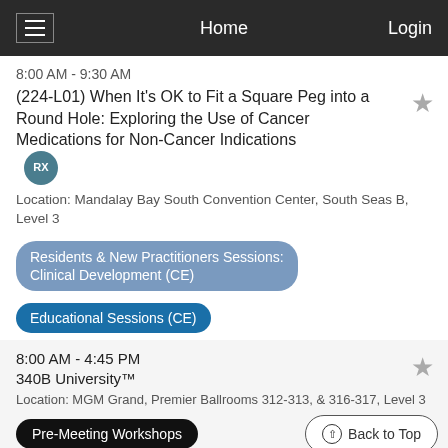Home | Login
8:00 AM - 9:30 AM
(224-L01) When It's OK to Fit a Square Peg into a Round Hole: Exploring the Use of Cancer Medications for Non-Cancer Indications [RX]
Location: Mandalay Bay South Convention Center, South Seas B, Level 3
Residents & New Practitioners Sessions: Clinical Development (CE)
Educational Sessions (CE)
8:00 AM - 4:45 PM
340B University™
Location: MGM Grand, Premier Ballrooms 312-313, & 316-317, Level 3
Pre-Meeting Workshops
Back to Top